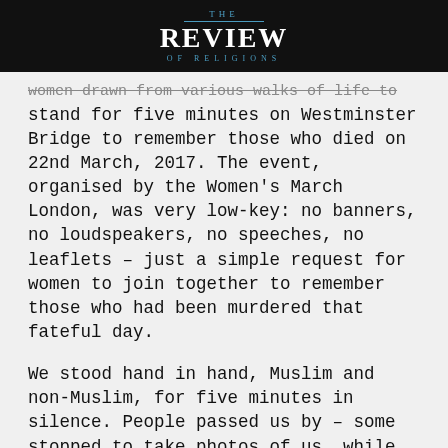THE REVIEW OF RELIGIONS
women drawn from various walks of life to stand for five minutes on Westminster Bridge to remember those who died on 22nd March, 2017. The event, organised by the Women's March London, was very low-key: no banners, no loudspeakers, no speeches, no leaflets – just a simple request for women to join together to remember those who had been murdered that fateful day.

We stood hand in hand, Muslim and non-Muslim, for five minutes in silence. People passed us by – some stopped to take photos of us, while others watched us. The experience was very emotional. Here we were, reminding people that terror attacks affect us too and that, in the words of the Holy Qur'an, 'Whoso kills a person, except for